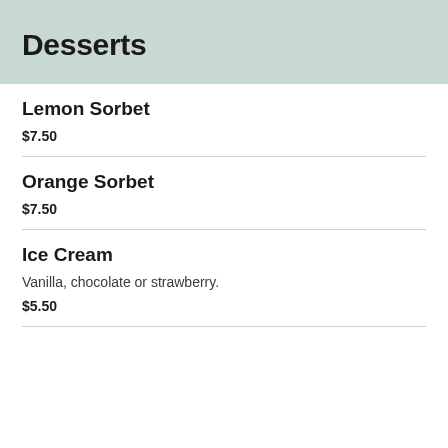Desserts
Lemon Sorbet
$7.50
Orange Sorbet
$7.50
Ice Cream
Vanilla, chocolate or strawberry.
$5.50